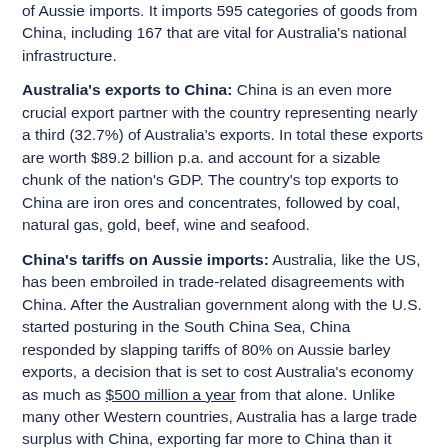of Aussie imports. It imports 595 categories of goods from China, including 167 that are vital for Australia's national infrastructure.
Australia's exports to China: China is an even more crucial export partner with the country representing nearly a third (32.7%) of Australia's exports. In total these exports are worth $89.2 billion p.a. and account for a sizable chunk of the nation's GDP. The country's top exports to China are iron ores and concentrates, followed by coal, natural gas, gold, beef, wine and seafood.
China's tariffs on Aussie imports: Australia, like the US, has been embroiled in trade-related disagreements with China. After the Australian government along with the U.S. started posturing in the South China Sea, China responded by slapping tariffs of 80% on Aussie barley exports, a decision that is set to cost Australia's economy as much as $500 million a year from that alone. Unlike many other Western countries, Australia has a large trade surplus with China, exporting far more to China than it imports, and this presents a huge challenge economically.